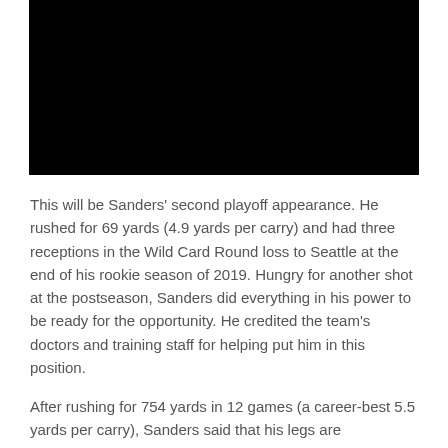[Figure (photo): Black rectangular image placeholder at top of page]
This will be Sanders' second playoff appearance. He rushed for 69 yards (4.9 yards per carry) and had three receptions in the Wild Card Round loss to Seattle at the end of his rookie season of 2019. Hungry for another shot at the postseason, Sanders did everything in his power to be ready for the opportunity. He credited the team's doctors and training staff for helping put him in this position.
After rushing for 754 yards in 12 games (a career-best 5.5 yards per carry), Sanders said that his legs are
[Figure (infographic): Social sharing icons: Facebook, Twitter, Email, Link]